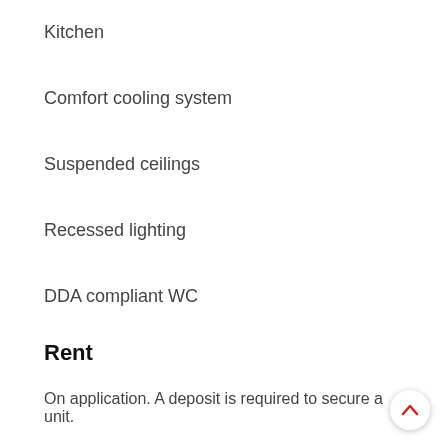Kitchen
Comfort cooling system
Suspended ceilings
Recessed lighting
DDA compliant WC
Rent
On application. A deposit is required to secure a unit.